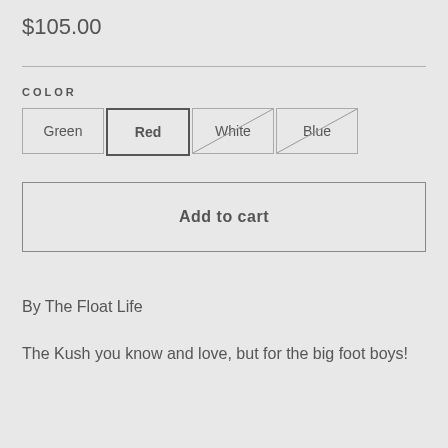$105.00
COLOR
[Figure (other): Color selector buttons: Green (unselected), Red (selected/bold border), White (strikethrough/unavailable), Blue (strikethrough/unavailable)]
Add to cart
By The Float Life
The Kush you know and love, but for the big foot boys!